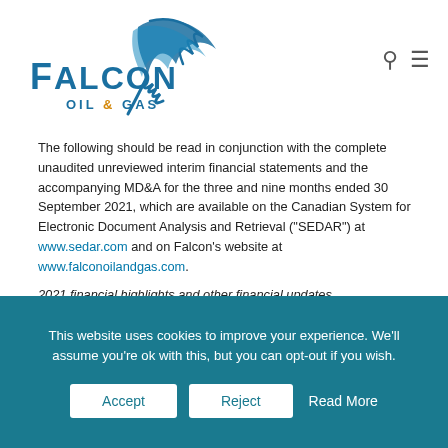[Figure (logo): Falcon Oil & Gas company logo with blue stylized falcon wing graphic and company name in blue and orange text]
The following should be read in conjunction with the complete unaudited unreviewed interim financial statements and the accompanying MD&A for the three and nine months ended 30 September 2021, which are available on the Canadian System for Electronic Document Analysis and Retrieval ("SEDAR") at www.sedar.com and on Falcon's website at www.falconoilandgas.com.
2021 financial highlights and other financial updates
Strong financial position, debt free with cash of
This website uses cookies to improve your experience. We'll assume you're ok with this, but you can opt-out if you wish.